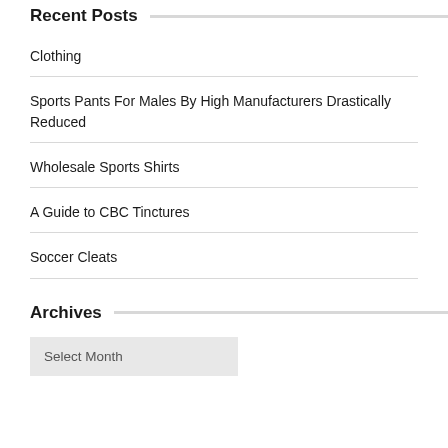Recent Posts
Clothing
Sports Pants For Males By High Manufacturers Drastically Reduced
Wholesale Sports Shirts
A Guide to CBC Tinctures
Soccer Cleats
Archives
Select Month